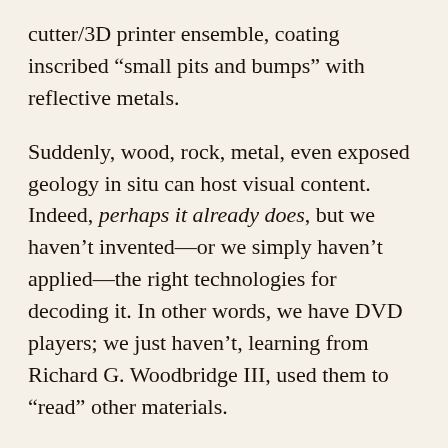cutter/3D printer ensemble, coating inscribed “small pits and bumps” with reflective metals.
Suddenly, wood, rock, metal, even exposed geology in situ can host visual content. Indeed, perhaps it already does, but we haven’t invented—or we simply haven’t applied—the right technologies for decoding it. In other words, we have DVD players; we just haven’t, learning from Richard G. Woodbridge III, used them to “read” other materials.
In August 2015, you and some friends hike up to a rock wall in the middle of Utah, and there are DVDs printed all over the surface of the hillside, full-length albums laser-burned into White Rim sandstone, and audio-visual